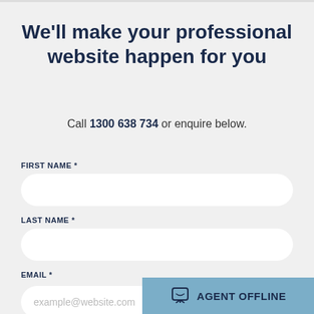We'll make your professional website happen for you
Call 1300 638 734 or enquire below.
FIRST NAME *
LAST NAME *
EMAIL *
example@website.com
[Figure (other): Agent Offline chat button overlay in blue-grey color with chat bubble icon]